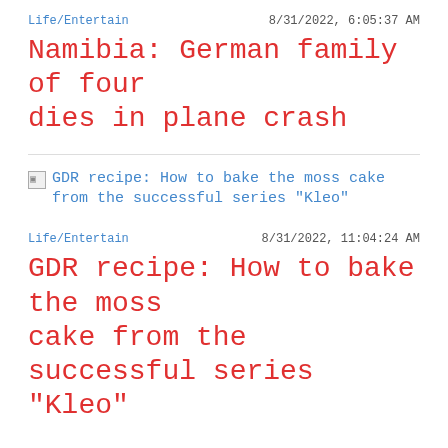Life/Entertain    8/31/2022, 6:05:37 AM
Namibia: German family of four dies in plane crash
[Figure (illustration): Broken image placeholder linking to article about GDR recipe: How to bake the moss cake from the successful series "Kleo"]
Life/Entertain    8/31/2022, 11:04:24 AM
GDR recipe: How to bake the moss cake from the successful series "Kleo"